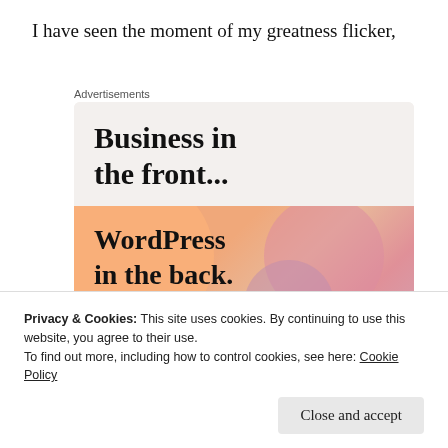I have seen the moment of my greatness flicker,
[Figure (infographic): Advertisement banner showing 'Business in the front...' in bold serif text on light background, with 'WordPress in the back.' on a colorful gradient background with orange, pink and mauve blob shapes.]
Privacy & Cookies: This site uses cookies. By continuing to use this website, you agree to their use.
To find out more, including how to control cookies, see here: Cookie Policy
Close and accept